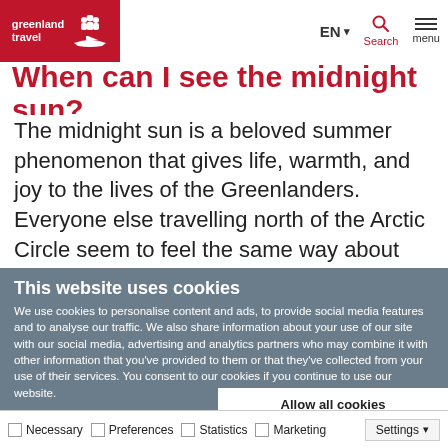[Figure (logo): Greenland Travel logo - red background with white text and icons]
EN ▾  Search  menu
When can I see the midnight sun?
The midnight sun is a beloved summer phenomenon that gives life, warmth, and joy to the lives of the Greenlanders. Everyone else travelling north of the Arctic Circle seem to feel the same way about the Land
This website uses cookies
We use cookies to personalise content and ads, to provide social media features and to analyse our traffic. We also share information about your use of our site with our social media, advertising and analytics partners who may combine it with other information that you've provided to them or that they've collected from your use of their services. You consent to our cookies if you continue to use our website.
Allow all cookies
Allow selection
Use necessary cookies only
Necessary  Preferences  Statistics  Marketing  Settings ▾